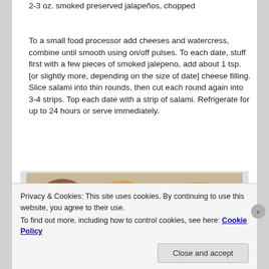2-3 oz. smoked preserved jalapeños, chopped
To a small food processor add cheeses and watercress, combine until smooth using on/off pulses. To each date, stuff first with a few pieces of smoked jalepeno, add about 1 tsp. [or slightly more, depending on the size of date] cheese filling. Slice salami into thin rounds, then cut each round again into 3-4 strips. Top each date with a strip of salami. Refrigerate for up to 24 hours or serve immediately.
[Figure (photo): Photo of stuffed dates topped with salami and jalapeños on a plate]
Privacy & Cookies: This site uses cookies. By continuing to use this website, you agree to their use.
To find out more, including how to control cookies, see here: Cookie Policy